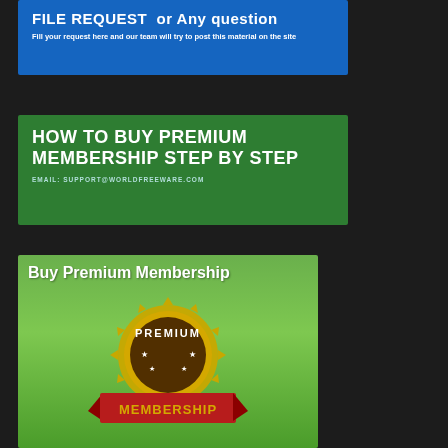[Figure (infographic): Blue banner with title 'FILE REQUEST or Any question' and subtitle 'Fill your request here and our team will try to post this material on the site']
[Figure (infographic): Green banner with title 'HOW TO BUY PREMIUM MEMBERSHIP STEP BY STEP' and email 'EMAIL: SUPPORT@WORLDFREEWARE.COM']
[Figure (infographic): Green promotional banner titled 'Buy Premium Membership' with a gold medal seal showing 'PREMIUM' text and a red ribbon banner showing 'MEMBERSHIP']